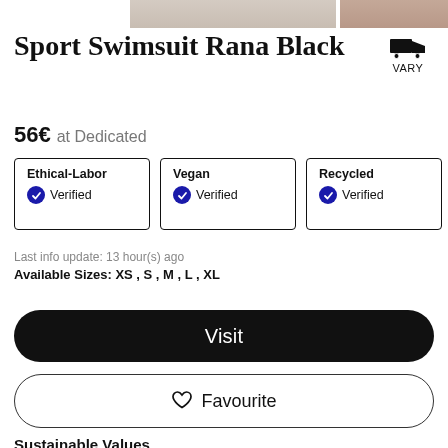[Figure (photo): Top cropped product photos showing swimsuit on model]
Sport Swimsuit Rana Black
56€  at Dedicated
| Label | Status |
| --- | --- |
| Ethical-Labor | Verified |
| Vegan | Verified |
| Recycled | Verified |
Last info update: 13 hour(s) ago
Available Sizes: XS , S , M , L , XL
Visit
♡  Favourite
Sustainable Values